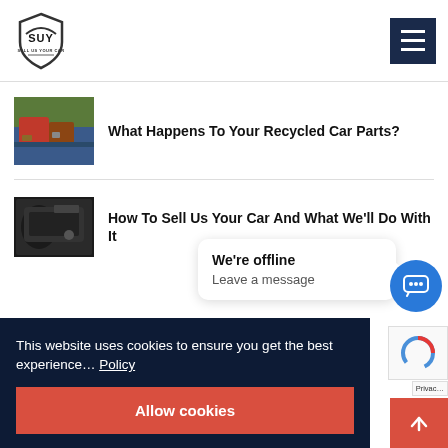SUY - Sell Us Your Car
[Figure (logo): SUY Sell Us Your Car shield logo]
What Happens To Your Recycled Car Parts?
[Figure (photo): Photo of recycled/junk cars in a yard]
How To Sell Us Your Car And What We'll Do With It
[Figure (photo): Photo of car interior dashboard]
This website uses cookies to ensure you get the best experience on our website. Cookie Policy
Allow cookies
We're offline
Leave a message